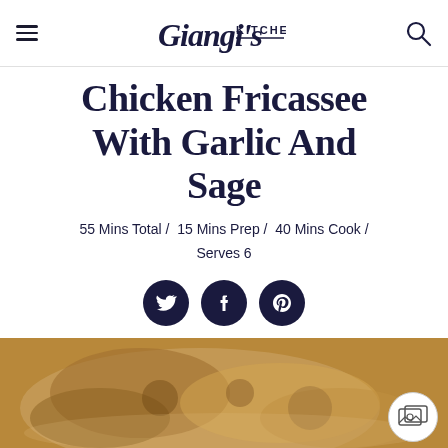Giangi's Kitchen
Chicken Fricassee With Garlic And Sage
55 Mins Total /  15 Mins Prep /  40 Mins Cook / Serves 6
[Figure (other): Social media share buttons: Twitter, Facebook, Pinterest (dark navy circles with white icons)]
[Figure (photo): Photo of chicken fricassee dish with a gallery icon badge in the bottom right corner]